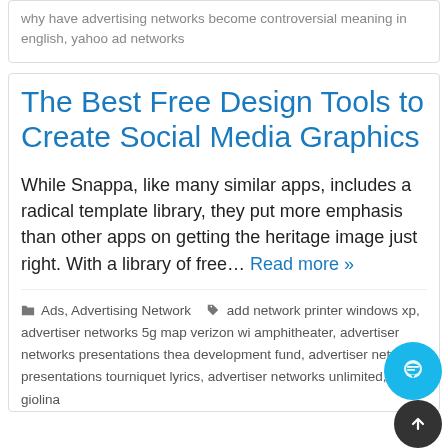why have advertising networks become controversial meaning in english, yahoo ad networks
The Best Free Design Tools to Create Social Media Graphics
While Snappa, like many similar apps, includes a radical template library, they put more emphasis than other apps on getting the heritage image just right. With a library of free… Read more »
Ads, Advertising Network  add network printer windows xp, advertiser networks 5g map verizon wi amphitheater, advertiser networks presentations thea development fund, advertiser networks presentations tourniquet lyrics, advertiser networks unlimited, giolina